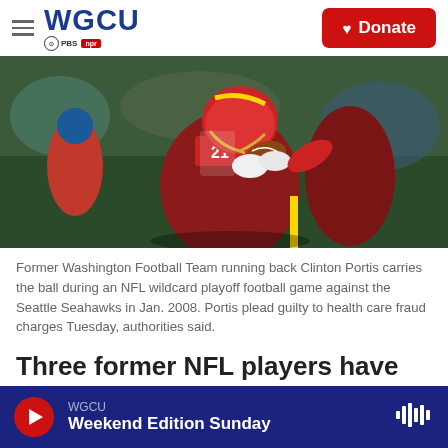WGCU PBS NPR — Donate
[Figure (photo): Former Washington Football Team running back Clinton Portis carries the ball during an NFL wildcard playoff football game against the Seattle Seahawks in Jan. 2008. Player wearing #21 jersey in red and gold uniform.]
Former Washington Football Team running back Clinton Portis carries the ball during an NFL wildcard playoff football game against the Seattle Seahawks in Jan. 2008. Portis plead guilty to health care fraud charges Tuesday, authorities said.
Three former NFL players have pleaded guilty to a
WGCU — Weekend Edition Sunday